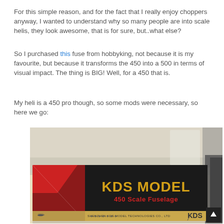For this simple reason, and for the fact that I really enjoy choppers anyway, I wanted to understand why so many people are into scale helis, they look awesome, that is for sure, but..what else?
So I purchased this fuse from hobbyking, not because it is my favourite, but because it transforms the 450 into a 500 in terms of visual impact. The thing is BIG! Well, for a 450 that is.
My heli is a 450 pro though, so some mods were necessary, so here we go:
[Figure (photo): Photo of a KDS MODEL 450 Scale Fuselage box on a desk, with a black and gold packaging showing helicopter silhouettes and the KDS logo. Background shows a cluttered desk.]